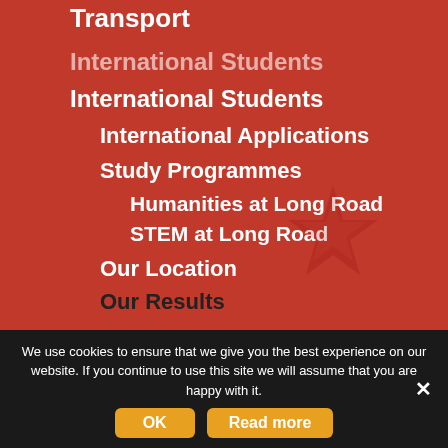Transport
International Students
International Students
International Applications
Study Programmes
Humanities at Long Road
STEM at Long Road
Our Location
Our Results
We use cookies to ensure that we give you the best experience on our website. If you continue to use this site we will assume that you are happy with it.